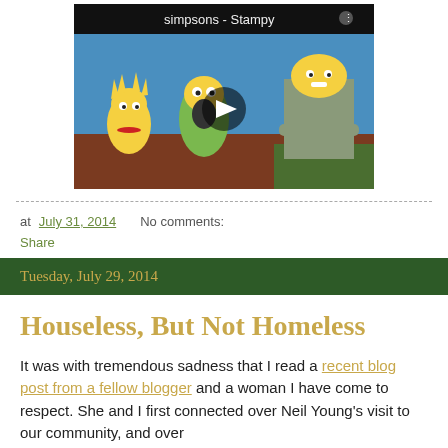[Figure (screenshot): YouTube video thumbnail showing a Simpsons scene with Lisa, another character, and a military-looking figure. Title text reads 'simpsons - Stampy' with a play button overlay.]
at July 31, 2014   No comments:
Share
Tuesday, July 29, 2014
Houseless, But Not Homeless
It was with tremendous sadness that I read a recent blog post from a fellow blogger and a woman I have come to respect. She and I first connected over Neil Young's visit to our community, and over